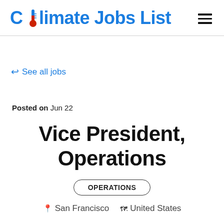Climate Jobs List
↩ See all jobs
Posted on Jun 22
Vice President, Operations
OPERATIONS
📍 San Francisco  🗺️ United States